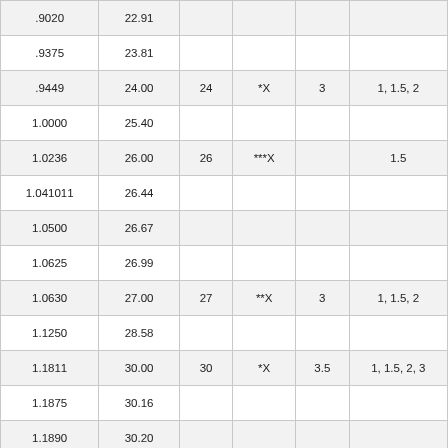| .9020 | 22.91 |  |  |  |  |  |
| .9375 | 23.81 |  |  |  |  |  |
| .9449 | 24.00 | 24 | *X | 3 | 1, 1.5, 2 |  |
| 1.0000 | 25.40 |  |  |  |  |  |
| 1.0236 | 26.00 | 26 | ***X |  | 1.5 | 1.5 |
| 1.041011 | 26.44 |  |  |  |  |  |
| 1.0500 | 26.67 |  |  |  |  |  |
| 1.0625 | 26.99 |  |  |  |  |  |
| 1.0630 | 27.00 | 27 | **X | 3 | 1, 1.5, 2 |  |
| 1.1250 | 28.58 |  |  |  |  |  |
| 1.1811 | 30.00 | 30 | *X | 3.5 | 1, 1.5, 2, 3 |  |
| 1.1875 | 30.16 |  |  |  |  |  |
| 1.1890 | 30.20 |  |  |  |  |  |